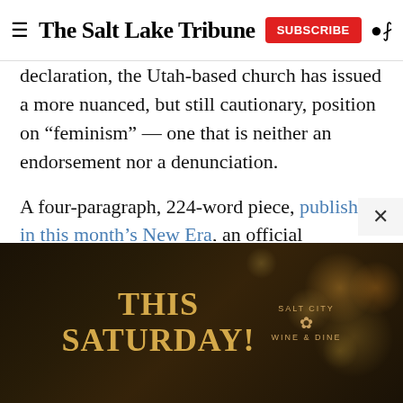The Salt Lake Tribune
declaration, the Utah-based church has issued a more nuanced, but still cautionary, position on “feminism” — one that is neither an endorsement nor a denunciation.
A four-paragraph, 224-word piece, published in this month’s New Era, an official magazine for Latter-day Saint youths, addresses the question: What is the church’s stance on feminism?
It opens with a declaration that: All people are “childr…
[Figure (photo): Advertisement banner for Salt City Wine & Dine event: dark background with bokeh lights, gold text reading THIS SATURDAY with Salt City Wine & Dine logo in center]